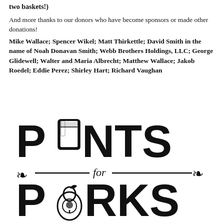two baskets!)
And more thanks to our donors who have become sponsors or made other donations! Mike Wallace; Spencer Wikel; Matt Thirkettle; David Smith in the name of Noah Donavan Smith; Webb Brothers Holdings, LLC; George Glidewell; Walter and Maria Albrecht; Matthew Wallace; Jakob Roedel; Eddie Perez; Shirley Hart; Richard Vaughan
[Figure (logo): Pints for Parks logo with large bold text, a beer pint glass icon replacing the O in PINTS, a pear with a tree inside replacing the O in PARKS, decorative hop plant icons on each side, and a horizontal line with 'for' in script font in the middle]